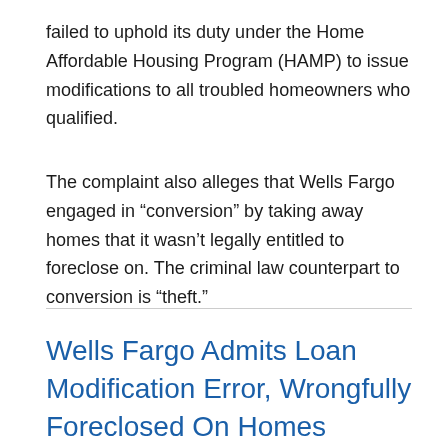failed to uphold its duty under the Home Affordable Housing Program (HAMP) to issue modifications to all troubled homeowners who qualified.
The complaint also alleges that Wells Fargo engaged in “conversion” by taking away homes that it wasn’t legally entitled to foreclose on. The criminal law counterpart to conversion is “theft.”
Wells Fargo Admits Loan Modification Error, Wrongfully Foreclosed On Homes